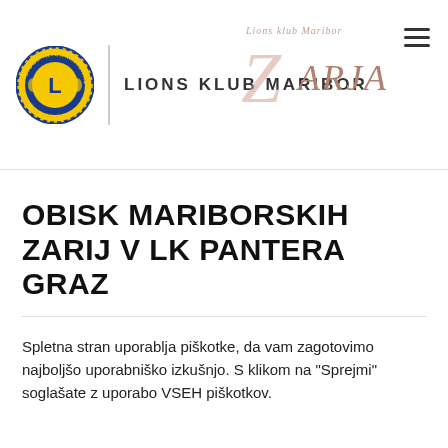[Figure (logo): Lions Club International logo — circular badge with yellow and blue, lion head with 'L', text 'LIONS INTERNATIONAL' around the edge]
LIONS KLUB MARIBOR ZARJA
OBISK MARIBORSKIH ZARIJ V LK PANTERA GRAZ
Spletna stran uporablja piškotke, da vam zagotovimo najboljšo uporabniško izkušnjo. S klikom na "Sprejmi" soglašate z uporabo VSEH piškotkov.